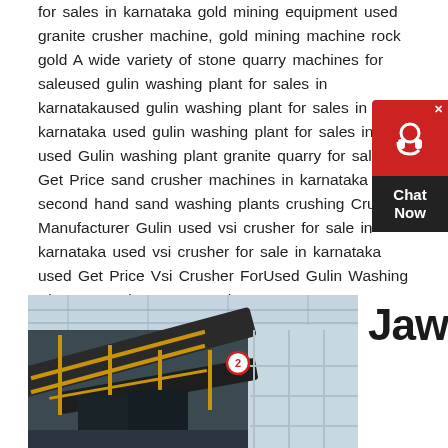for sales in karnataka gold mining equipment used granite crusher machine, gold mining machine rock gold A wide variety of stone quarry machines for saleused gulin washing plant for sales in karnatakaused gulin washing plant for sales in karnataka used gulin washing plant for sales in used Gulin washing plant granite quarry for sale in Get Price sand crusher machines in karnataka second hand sand washing plants crushing Crusher Manufacturer Gulin used vsi crusher for sale in karnataka used vsi crusher for sale in karnataka used Get Price Vsi Crusher ForUsed Gulin Washing Plant For Sales In Karnataka
[Figure (photo): Industrial conveyor belt system inside a large warehouse/factory building with yellow railings and a red numbered sign]
Jaw